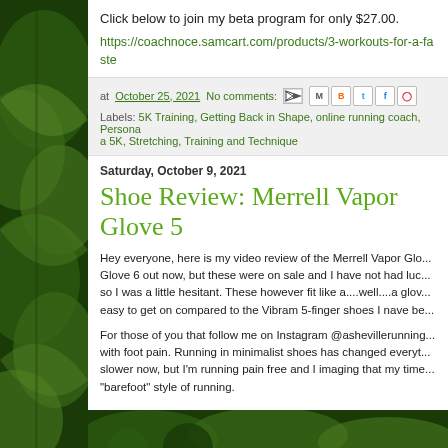Click below to join my beta program for only $27.00.
https://coachnoce.samcart.com/products/3-workouts-for-a-faste
at October 25, 2021   No comments:
Labels: 5K Training, Getting Back in Shape, online running coach, Persona... a 5K, Stretching, Training and Technique
Saturday, October 9, 2021
Shoe Review: Merrell Vapor Glove 5
Hey everyone, here is my video review of the Merrell Vapor Glo... Glove 6 out now, but these were on sale and I have not had luc... so I was a little hesitant. These however fit like a....well....a glov... easy to get on compared to the Vibram 5-finger shoes I nave be...
For those of you that follow me on Instagram @ashevillerunning... with foot pain. Running in minimalist shoes has changed everyt... slower now, but I'm running pain free and I imaging that my time... "barefoot" style of running.
[Figure (photo): Bottom portion of a photo showing dark green foliage/nature scene]